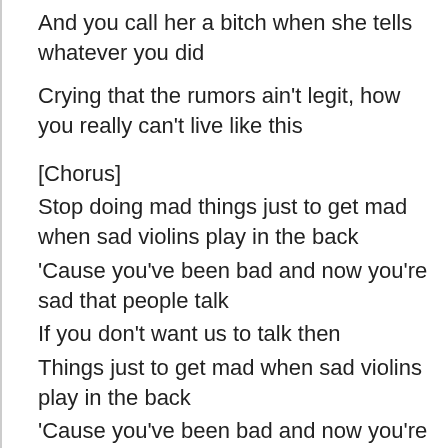And you call her a bitch when she tells whatever you did
Crying that the rumors ain't legit, how you really can't live like this
[Chorus]
Stop doing mad things just to get mad when sad violins play in the back
'Cause you've been bad and now you're sad that people talk
If you don't want us to talk then
Things just to get mad when sad violins play in the back
'Cause you've been bad and now you're sad that people talk
If you don't want us to talk then
(Stop doing what you're doing, right now)